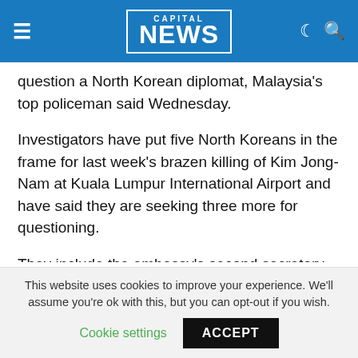CAPITAL NEWS
question a North Korean diplomat, Malaysia’s top policeman said Wednesday.
Investigators have put five North Koreans in the frame for last week’s brazen killing of Kim Jong-Nam at Kuala Lumpur International Airport and have said they are seeking three more for questioning.
They include the embassy’s second secretary, Hyon Kwang Song, as well as a North Korean airline employee called Kim Uk Il, Khalid Abu Bakar told reporters.
“We have written to the ambassador to allow us to
This website uses cookies to improve your experience. We’ll assume you’re ok with this, but you can opt-out if you wish.
Cookie settings  ACCEPT